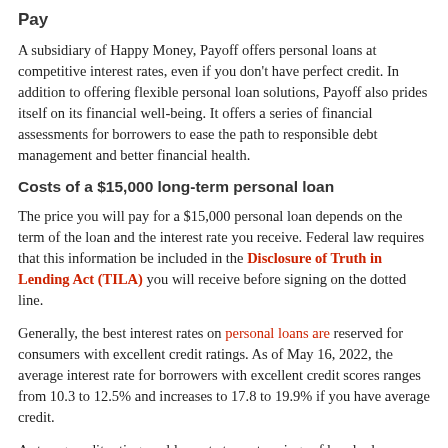Pay
A subsidiary of Happy Money, Payoff offers personal loans at competitive interest rates, even if you don't have perfect credit. In addition to offering flexible personal loan solutions, Payoff also prides itself on its financial well-being. It offers a series of financial assessments for borrowers to ease the path to responsible debt management and better financial health.
Costs of a $15,000 long-term personal loan
The price you will pay for a $15,000 personal loan depends on the term of the loan and the interest rate you receive. Federal law requires that this information be included in the Disclosure of Truth in Lending Act (TILA) you will receive before signing on the dotted line.
Generally, the best interest rates on personal loans are reserved for consumers with excellent credit ratings. As of May 16, 2022, the average interest rate for borrowers with excellent credit scores ranges from 10.3 to 12.5% and increases to 17.8 to 19.9% if you have average credit.
A strong credit rating could equate to cost savings of hundreds o...